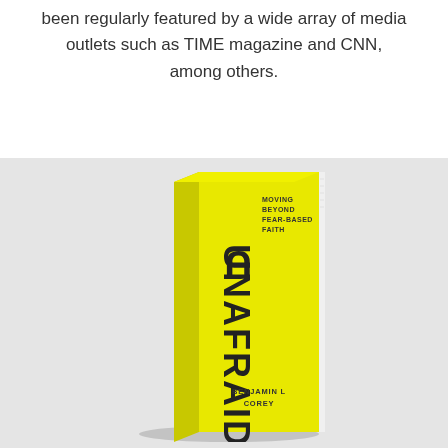been regularly featured by a wide array of media outlets such as TIME magazine and CNN, among others.
[Figure (photo): 3D book cover of 'Unafraid: Moving Beyond Fear-Based Faith' by Benjamin L Corey. The book has a bright yellow cover with dark text. The title 'UNAFRAID' runs vertically in large bold letters, with subtitle 'MOVING BEYOND FEAR-BASED FAITH' in smaller text at the top right, and the author name 'BENJAMIN L COREY' at the bottom.]